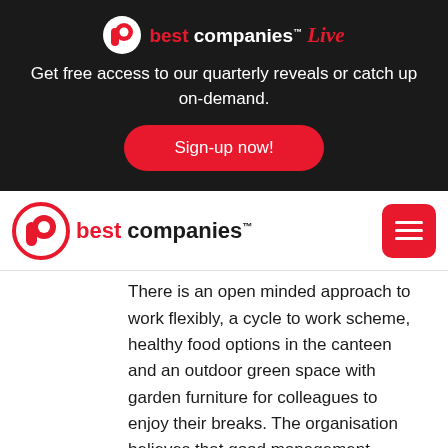[Figure (logo): Best Companies Live logo with white background circle containing red b, followed by 'best companies' in red/white text and 'Live' in red script]
Get free access to our quarterly reveals or catch up on-demand.
Sign-up now!
[Figure (logo): Best Companies logo: red circle outline with red b inside, followed by 'best companies' text in red and black with trademark symbol]
There is an open minded approach to work flexibly, a cycle to work scheme, healthy food options in the canteen and an outdoor green space with garden furniture for colleagues to enjoy their breaks. The organisation believes that good management practices can help reduce work-related stress. Examples of practices The Consortium use include making sure employees understand what they have to do